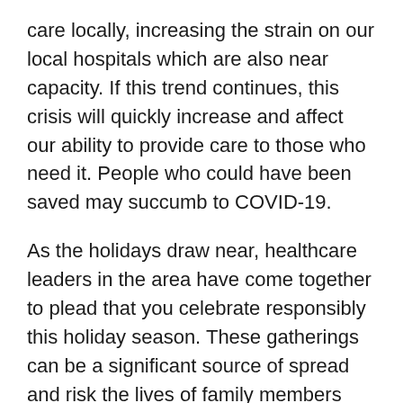care locally, increasing the strain on our local hospitals which are also near capacity. If this trend continues, this crisis will quickly increase and affect our ability to provide care to those who need it. People who could have been saved may succumb to COVID-19.
As the holidays draw near, healthcare leaders in the area have come together to plead that you celebrate responsibly this holiday season. These gatherings can be a significant source of spread and risk the lives of family members and friends. It may not be easy, but we ask you please try to find safe alternatives to these gatherings. Stay home. Call your loved ones or use video chat to communicate.
Fighting this virus requires a unified front, not just from hospitals but from every single individual. Everyone needs to practice physical distancing, wash your hands regularly, only leave home when absolutely necessary and wear a